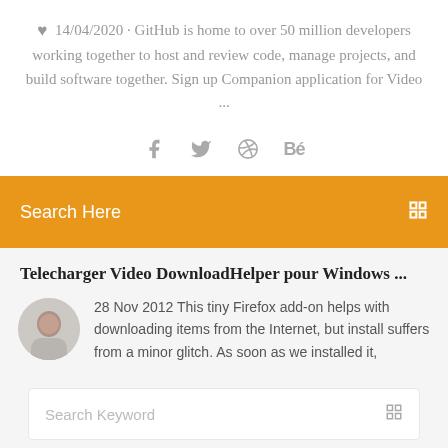14/04/2020 · GitHub is home to over 50 million developers working together to host and review code, manage projects, and build software together. Sign up Companion application for Video ...
[Figure (other): Social media icons: Facebook (f), Twitter (bird), Dribbble (circle with spokes), Behance (Be)]
Search Here
Telecharger Video DownloadHelper pour Windows ...
28 Nov 2012 This tiny Firefox add-on helps with downloading items from the Internet, but install suffers from a minor glitch. As soon as we installed it,
Search Keyword